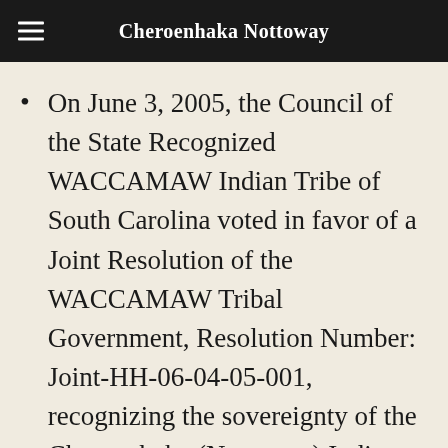Cheroenhaka Nottoway
On June 3, 2005, the Council of the State Recognized WACCAMAW Indian Tribe of South Carolina voted in favor of a Joint Resolution of the WACCAMAW Tribal Government, Resolution Number: Joint-HH-06-04-05-001, recognizing the sovereignty of the Cheroenhaka (Nottoway) Indian Tribe, Southampton County, Virginia...